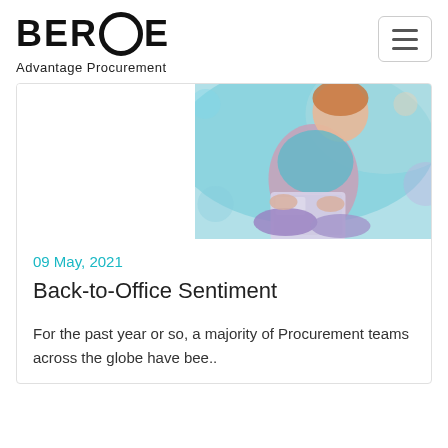BEROE Advantage Procurement
[Figure (photo): Person sitting cross-legged using a laptop, colorful/artistic style with teal, pink and purple hues]
09 May, 2021
Back-to-Office Sentiment
For the past year or so, a majority of Procurement teams across the globe have bee..